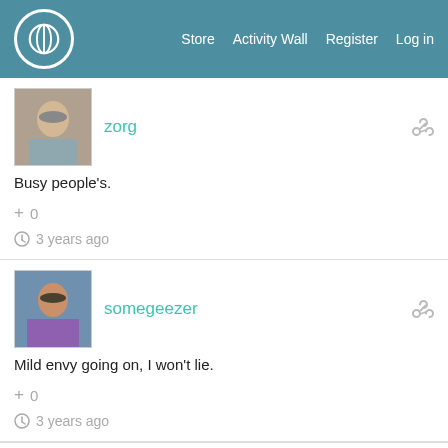Store  Activity Wall  Register  Log in
zorg
Busy people's.
+ 0
3 years ago
somegeezer
Mild envy going on, I won't lie.
+ 0
3 years ago